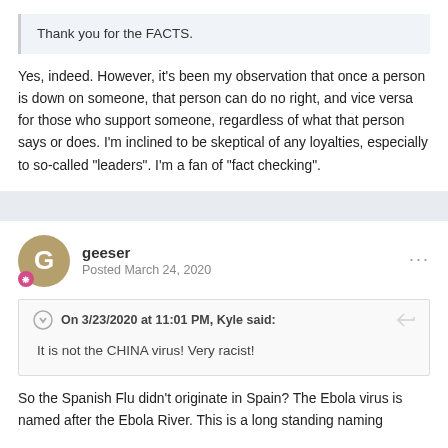Thank you for the FACTS.
Yes, indeed.  However, it's been my observation that once a person is down on someone, that person can do no right, and vice versa for those who support someone, regardless of what that person says or does.   I'm inclined to be skeptical of any loyalties, especially to so-called "leaders". I'm a fan of "fact checking".
geeser
Posted March 24, 2020
On 3/23/2020 at 11:01 PM, Kyle said:
It is not  the CHINA virus!  Very racist!
So the Spanish Flu didn't originate in Spain? The Ebola virus is named after the Ebola River. This is a long standing naming